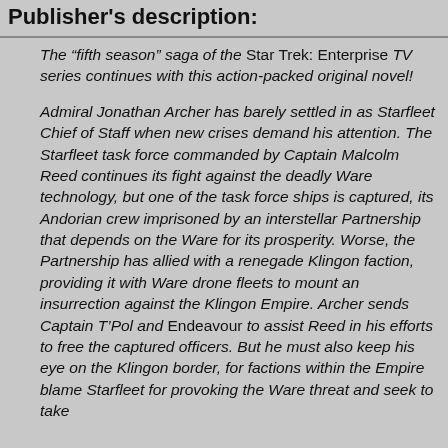Publisher's description:
The “fifth season” saga of the Star Trek: Enterprise TV series continues with this action-packed original novel!

Admiral Jonathan Archer has barely settled in as Starfleet Chief of Staff when new crises demand his attention. The Starfleet task force commanded by Captain Malcolm Reed continues its fight against the deadly Ware technology, but one of the task force ships is captured, its Andorian crew imprisoned by an interstellar Partnership that depends on the Ware for its prosperity. Worse, the Partnership has allied with a renegade Klingon faction, providing it with Ware drone fleets to mount an insurrection against the Klingon Empire. Archer sends Captain T’Pol and Endeavour to assist Reed in his efforts to free the captured officers. But he must also keep his eye on the Klingon border, for factions within the Empire blame Starfleet for provoking the Ware threat and seek to take